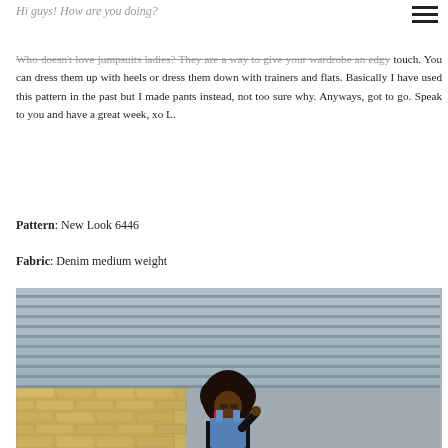Hi guys! How are you doing?
Who doesn't love jumpsuits ladies? They are a way to give your wardrobe an edgy touch. You can dress them up with heels or dress them down with trainers and flats. Basically I have used this pattern in the past but I made pants instead, not too sure why. Anyways, got to go. Speak to you and have a great week, xo L.
Pattern: New Look 6446
Fabric: Denim medium weight
[Figure (photo): A woman wearing a denim jumpsuit standing in front of corrugated metal siding and brick wall, with a large natural afro hairstyle and red earrings.]